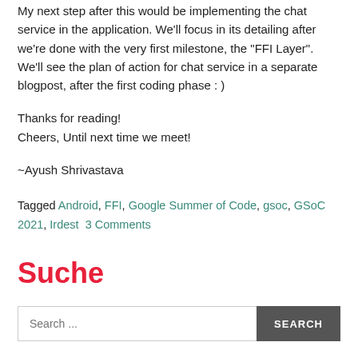My next step after this would be implementing the chat service in the application. We'll focus in its detailing after we're done with the very first milestone, the "FFI Layer". We'll see the plan of action for chat service in a separate blogpost, after the first coding phase : )
Thanks for reading!
Cheers, Until next time we meet!
~Ayush Shrivastava
Tagged Android, FFI, Google Summer of Code, gsoc, GSoC 2021, Irdest  3 Comments
Suche
Search ...